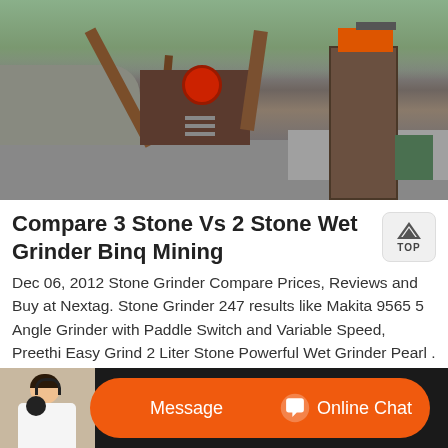[Figure (photo): Aerial/ground-level view of a stone crushing/mining facility with heavy machinery, conveyor arms, and stone crushing equipment set against a hillside background.]
Compare 3 Stone Vs 2 Stone Wet Grinder Binq Mining
Dec 06, 2012 Stone Grinder Compare Prices, Reviews and Buy at Nextag. Stone Grinder 247 results like Makita 9565 5 Angle Grinder with Paddle Switch and Variable Speed, Preethi Easy Grind 2 Liter Stone Powerful Wet Grinder Pearl . More detailed.